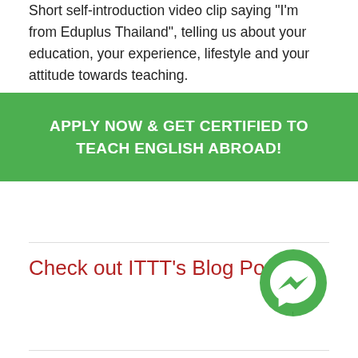Short self-introduction video clip saying "I'm from Eduplus Thailand", telling us about your education, your experience, lifestyle and your attitude towards teaching.
APPLY NOW & GET CERTIFIED TO TEACH ENGLISH ABROAD!
Check out ITTT's Blog Posts
[Figure (logo): Green Facebook Messenger icon/logo circle]